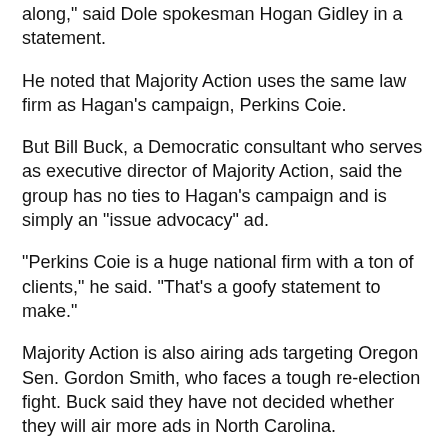along," said Dole spokesman Hogan Gidley in a statement.
He noted that Majority Action uses the same law firm as Hagan's campaign, Perkins Coie.
But Bill Buck, a Democratic consultant who serves as executive director of Majority Action, said the group has no ties to Hagan's campaign and is simply an "issue advocacy" ad.
"Perkins Coie is a huge national firm with a ton of clients," he said. "That's a goofy statement to make."
Majority Action is also airing ads targeting Oregon Sen. Gordon Smith, who faces a tough re-election fight. Buck said they have not decided whether they will air more ads in North Carolina.
The group has also received money from the Service Employees International Union, which is taking an increasingly active role in North Carolina races.
(continued on next page)